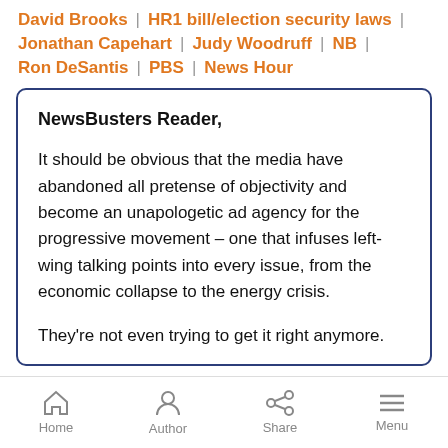David Brooks | HR1 bill/election security laws | Jonathan Capehart | Judy Woodruff | NB | Ron DeSantis | PBS | News Hour
NewsBusters Reader,

It should be obvious that the media have abandoned all pretense of objectivity and become an unapologetic ad agency for the progressive movement – one that infuses left-wing talking points into every issue, from the economic collapse to the energy crisis.

They're not even trying to get it right anymore.
Home | Author | Share | Menu